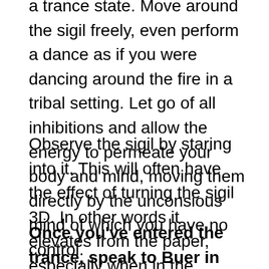a trance state. Move around the sigil freely, even perform a dance as if you were dancing around the fire in a tribal setting. Let go of all inhibitions and allow the energy to permeate your body and mind, moving them directly by the unconsious mind of which you have no control.
Observe the sigil by staring into it. This will often have the effect of turning the sigil 3D. In other words it elevates from the paper, especially when in the middle between four candles. If you have the scrying mirror at hand observe it and see if Buer will appear in visual form as well.
Once you've entered the trance, speak to Buer in your own words. These are the words that I've